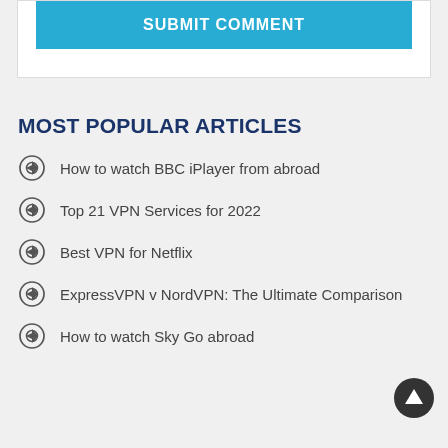[Figure (other): Submit Comment button — blue rectangle with white bold uppercase text SUBMIT COMMENT]
MOST POPULAR ARTICLES
How to watch BBC iPlayer from abroad
Top 21 VPN Services for 2022
Best VPN for Netflix
ExpressVPN v NordVPN: The Ultimate Comparison
How to watch Sky Go abroad